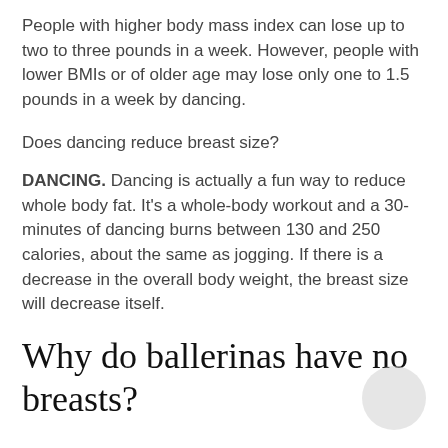People with higher body mass index can lose up to two to three pounds in a week. However, people with lower BMIs or of older age may lose only one to 1.5 pounds in a week by dancing.
Does dancing reduce breast size?
DANCING. Dancing is actually a fun way to reduce whole body fat. It’s a whole-body workout and a 30-minutes of dancing burns between 130 and 250 calories, about the same as jogging. If there is a decrease in the overall body weight, the breast size will decrease itself.
Why do ballerinas have no breasts?